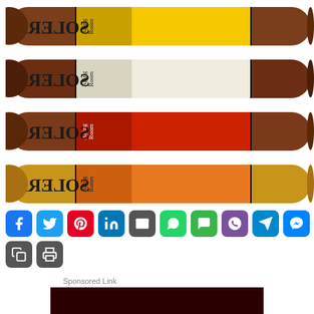[Figure (photo): Four Aging Room Solera cigars arranged horizontally, each with a different colored band: yellow, white/cream, red, and orange.]
[Figure (infographic): Row of social media sharing buttons: Facebook, Twitter, Pinterest, LinkedIn, Email, WhatsApp, SMS, Viber, Telegram, Messenger, Copy, Print]
Sponsored Link